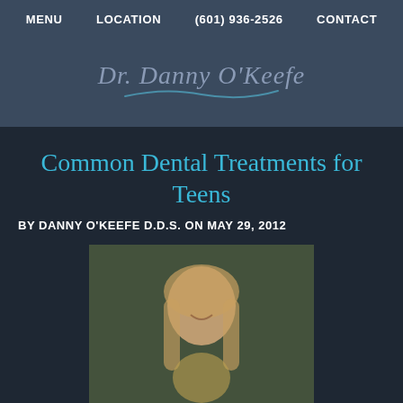MENU   LOCATION   (601) 936-2526   CONTACT
[Figure (logo): Dr. Danny O'Keefe cursive script logo with decorative swirl underline on dark blue background]
Common Dental Treatments for Teens
BY DANNY O'KEEFE D.D.S. ON MAY 29, 2012
[Figure (photo): Smiling teenage girl with long blonde hair outdoors]
Teenagers have a number of dental care needs,